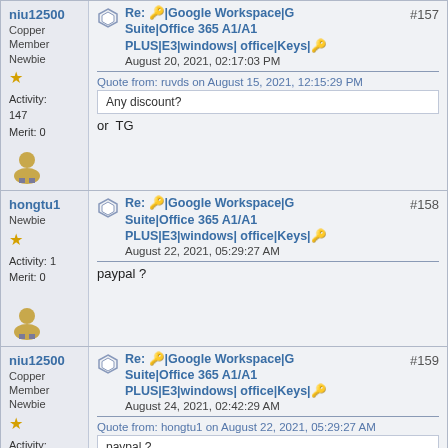niu12500 — Copper Member Newbie — Activity: 147, Merit: 0
Re: 🔑|Google Workspace|G Suite|Office 365 A1/A1 PLUS|E3|windows| office|Keys|🔑 — August 20, 2021, 02:17:03 PM — #157
Quote from: ruvds on August 15, 2021, 12:15:29 PM
Any discount?
or  TG
hongtu1 — Newbie — Activity: 1, Merit: 0
Re: 🔑|Google Workspace|G Suite|Office 365 A1/A1 PLUS|E3|windows| office|Keys|🔑 — August 22, 2021, 05:29:27 AM — #158
paypal ?
niu12500 — Copper Member Newbie — Activity: 147, Merit: 0
Re: 🔑|Google Workspace|G Suite|Office 365 A1/A1 PLUS|E3|windows| office|Keys|🔑 — August 24, 2021, 02:42:29 AM — #159
Quote from: hongtu1 on August 22, 2021, 05:29:27 AM
paypal ?
Virtual currency or credit card